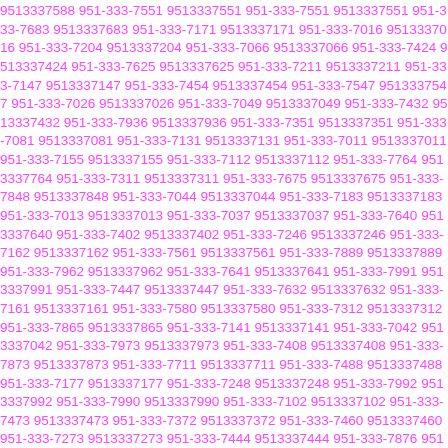9513337588 951-333-7551 9513337551 951-333-7551 9513337551 951-333-7683 9513337683 951-333-7171 9513337171 951-333-7016 9513337016 951-333-7204 9513337204 951-333-7066 9513337066 951-333-7424 9513337424 951-333-7625 9513337625 951-333-7211 9513337211 951-333-7147 9513337147 951-333-7454 9513337454 951-333-7547 9513337547 951-333-7026 9513337026 951-333-7049 9513337049 951-333-7432 9513337432 951-333-7936 9513337936 951-333-7351 9513337351 951-333-7081 9513337081 951-333-7131 9513337131 951-333-7011 9513337011 951-333-7155 9513337155 951-333-7112 9513337112 951-333-7764 9513337764 951-333-7311 9513337311 951-333-7675 9513337675 951-333-7848 9513337848 951-333-7044 9513337044 951-333-7183 9513337183 951-333-7013 9513337013 951-333-7037 9513337037 951-333-7640 9513337640 951-333-7402 9513337402 951-333-7246 9513337246 951-333-7162 9513337162 951-333-7561 9513337561 951-333-7889 9513337889 951-333-7962 9513337962 951-333-7641 9513337641 951-333-7991 9513337991 951-333-7447 9513337447 951-333-7632 9513337632 951-333-7161 9513337161 951-333-7580 9513337580 951-333-7312 9513337312 951-333-7865 9513337865 951-333-7141 9513337141 951-333-7042 9513337042 951-333-7973 9513337973 951-333-7408 9513337408 951-333-7873 9513337873 951-333-7711 9513337711 951-333-7488 9513337488 951-333-7177 9513337177 951-333-7248 9513337248 951-333-7992 9513337992 951-333-7990 9513337990 951-333-7102 9513337102 951-333-7473 9513337473 951-333-7372 9513337372 951-333-7460 9513337460 951-333-7273 9513337273 951-333-7444 9513337444 951-333-7876 9513337876 951-333-...